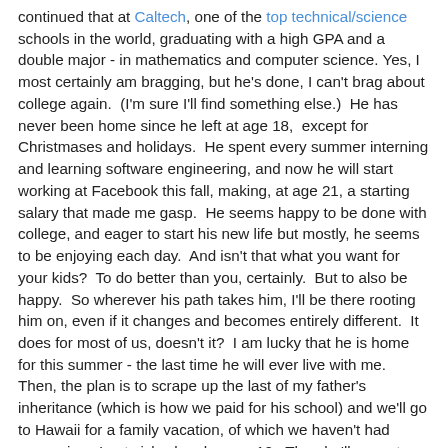continued that at Caltech, one of the top technical/science schools in the world, graduating with a high GPA and a double major - in mathematics and computer science. Yes, I most certainly am bragging, but he's done, I can't brag about college again.  (I'm sure I'll find something else.)  He has never been home since he left at age 18,  except for Christmases and holidays.  He spent every summer interning and learning software engineering, and now he will start working at Facebook this fall, making, at age 21, a starting salary that made me gasp.  He seems happy to be done with college, and eager to start his new life but mostly, he seems to be enjoying each day.  And isn't that what you want for your kids?  To do better than you, certainly.  But to also be happy.  So wherever his path takes him, I'll be there rooting him on, even if it changes and becomes entirely different.  It does for most of us, doesn't it?  I am lucky that he is home for this summer - the last time he will ever live with me.  Then, the plan is to scrape up the last of my father's inheritance (which is how we paid for his school) and we'll go to Hawaii for a family vacation, of which we haven't had many since I got sick when he was 12.  Then he'll move to the Bay Area.  This time, I'll let his girlfriend make his bed,